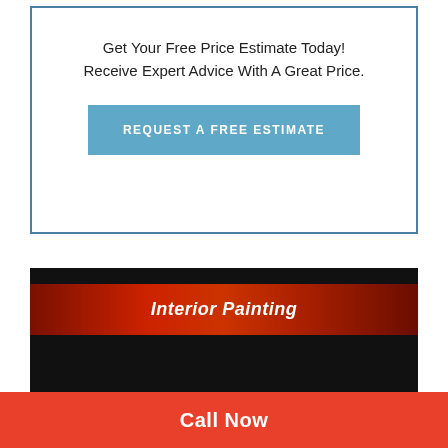Get Your Free Price Estimate Today!
Receive Expert Advice With A Great Price.
REQUEST A FREE ESTIMATE
Interior Painting
[Figure (photo): Photo of interior painting scaffolding and equipment]
Call Now